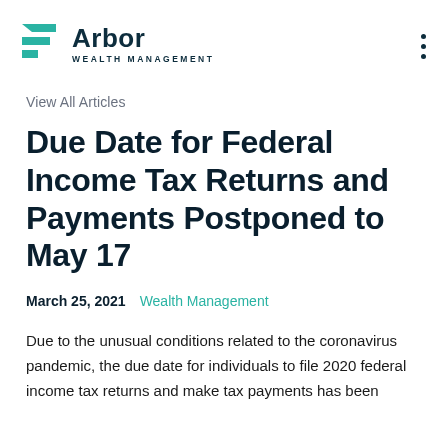Arbor Wealth Management
View All Articles
Due Date for Federal Income Tax Returns and Payments Postponed to May 17
March 25, 2021  Wealth Management
Due to the unusual conditions related to the coronavirus pandemic, the due date for individuals to file 2020 federal income tax returns and make tax payments has been